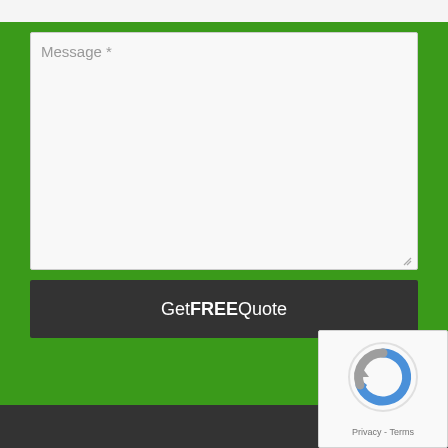[Figure (screenshot): Top portion of a web form input bar (email or name field), partially visible at top of page]
Message *
[Figure (screenshot): Large textarea input field for message with placeholder text 'Message *' and resize handle in bottom-right corner]
Get FREE Quote
Dark footer bar at bottom of page
[Figure (logo): Google reCAPTCHA widget showing reCAPTCHA logo icon and Privacy - Terms links]